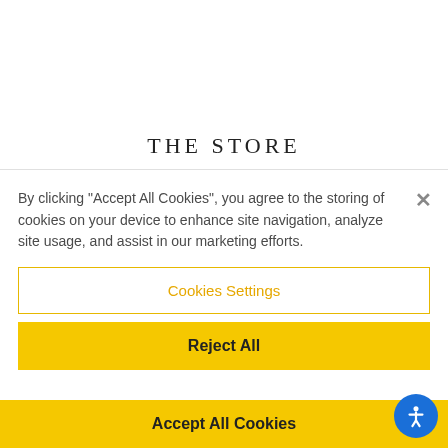THE STORE
By clicking “Accept All Cookies”, you agree to the storing of cookies on your device to enhance site navigation, analyze site usage, and assist in our marketing efforts.
Cookies Settings
Reject All
Accept All Cookies